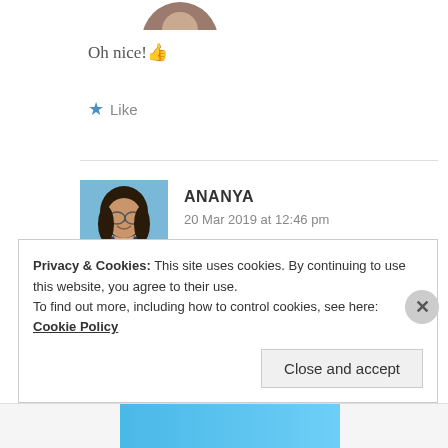[Figure (photo): Cropped circular avatar of a person at the top of the page, partially visible]
Oh nice! 👍
★ Like
[Figure (photo): Circular avatar photo of Ananya, a young woman with glasses, smiling]
ANANYA
20 Mar 2019 at 12:46 pm
Yeahh 😄
Privacy & Cookies: This site uses cookies. By continuing to use this website, you agree to their use.
To find out more, including how to control cookies, see here: Cookie Policy
Close and accept